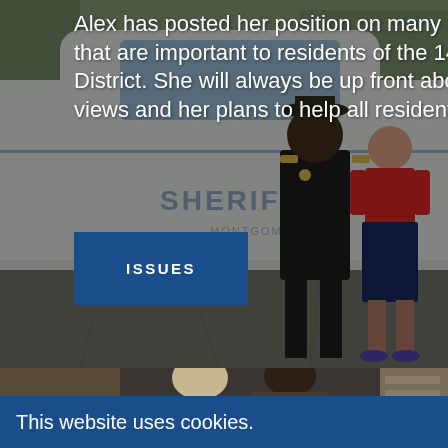[Figure (photo): Photo of a woman in red shirt and navy skirt standing next to a sheriff in uniform beside a patrol car labeled 'SHERIFF' and 'MONTGOMERY']
Alex has posted her position on many issues that are important to residents of the 147th District. She will always be up front about her views and her plans to help all residents.
[Figure (photo): Photo showing two people viewed from behind, sitting or standing near a doorway of a brick building]
This website uses cookies.